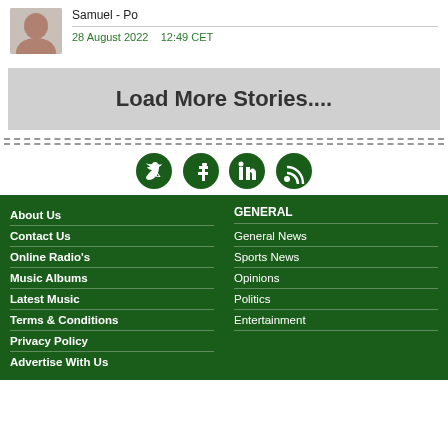Samuel - Po
28 August 2022   12:49 CET
Load More Stories....
[Figure (other): Social media icons: Twitter, Facebook, LinkedIn, RSS feed]
About Us
Contact Us
Online Radio's
Music Albums
Latest Music
Terms & Conditions
Privacy Policy
Advertise With Us
GENERAL
General News
Sports News
Opinions
Politics
Entertainment